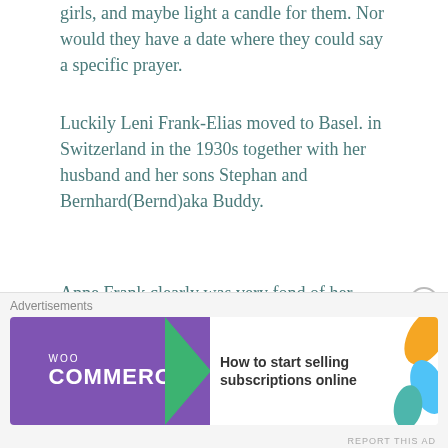girls, and maybe light a candle for them. Nor would they have a date where they could say a specific prayer.
Luckily Leni Frank-Elias moved to Basel. in Switzerland in the 1930s together with her husband and her sons Stephan and Bernhard(Bernd)aka Buddy.
Anne Frank clearly was very fond of her cousin Bernhard
Buddy (Bernd), was born in Frankfurt in 1925 and grew up in Basel. After his international career as an ice clown and actor, he became the President of the Anne Frank Fonds in Basel.
In a letter to Alice Fran dated 13 January 1941, Anne Frank
[Figure (other): WooCommerce advertisement banner: purple background with WooCommerce logo and white arrow, tagline 'How to start selling subscriptions online' with orange and blue leaf decorations]